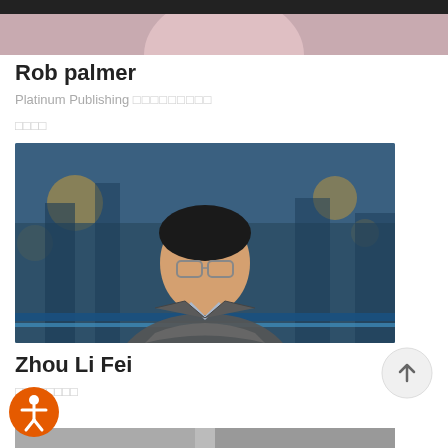[Figure (photo): Bottom portion of a person wearing a pink shirt, cropped at top of image]
Rob palmer
Platinum Publishing □□□□□□□□□
□□□□
[Figure (photo): Portrait photo of Zhou Li Fei, a man wearing glasses and a grey jacket, standing in front of a blue cityscape background with bokeh lights]
Zhou Li Fei
□□□□□□□□
□□□□
[Figure (photo): Partial view of next person's photo at bottom of page]